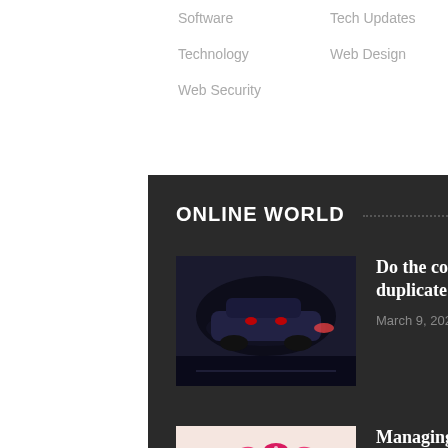Software
Tech Updates
Technology
Web Design
Web Security
ONLINE WORLD
[Figure (photo): Dark sci-fi scene with car and glowing elements]
Do the competitors of Amazon have the financial ability to duplicate?
March 9, 2022 | 0 Comments
[Figure (photo): Close-up of nailcare with pink nail polish and accessories]
Managing a Nailcare Accessories Ecommerce Store
October 5, 2019 | 0 Comments
[Figure (illustration): Two cartoon scientists comparing themselves, on teal background]
Here's the problem - You keep comparing yourself to others
February 28, 2019 | 0 Comments